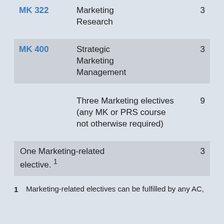| Course | Name | Credits |
| --- | --- | --- |
| MK 322 | Marketing Research | 3 |
| MK 400 | Strategic Marketing Management | 3 |
|  | Three Marketing electives (any MK or PRS course not otherwise required) | 9 |
|  | One Marketing-related elective. 1 | 3 |
1 Marketing-related electives can be fulfilled by any AC,